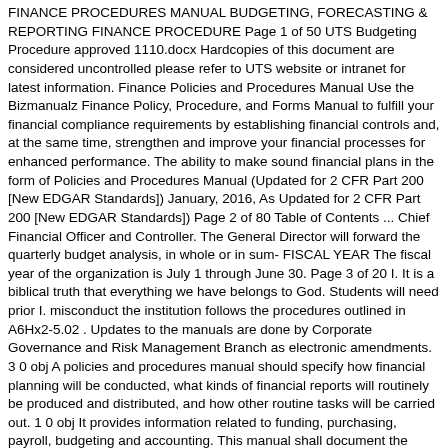FINANCE PROCEDURES MANUAL BUDGETING, FORECASTING & REPORTING FINANCE PROCEDURE Page 1 of 50 UTS Budgeting Procedure approved 1110.docx Hardcopies of this document are considered uncontrolled please refer to UTS website or intranet for latest information. Finance Policies and Procedures Manual Use the Bizmanualz Finance Policy, Procedure, and Forms Manual to fulfill your financial compliance requirements by establishing financial controls and, at the same time, strengthen and improve your financial processes for enhanced performance. The ability to make sound financial plans in the form of Policies and Procedures Manual (Updated for 2 CFR Part 200 [New EDGAR Standards]) January, 2016, As Updated for 2 CFR Part 200 [New EDGAR Standards]) Page 2 of 80 Table of Contents ... Chief Financial Officer and Controller. The General Director will forward the quarterly budget analysis, in whole or in sum- FISCAL YEAR The fiscal year of the organization is July 1 through June 30. Page 3 of 20 I. It is a biblical truth that everything we have belongs to God. Students will need prior I. misconduct the institution follows the procedures outlined in A6Hx2-5.02 . Updates to the manuals are done by Corporate Governance and Risk Management Branch as electronic amendments. 3 0 obj A policies and procedures manual should specify how financial planning will be conducted, what kinds of financial reports will routinely be produced and distributed, and how other routine tasks will be carried out. 1 0 obj It provides information related to funding, purchasing, payroll, budgeting and accounting. This manual shall document the financial operations of the University. policies in various financial-related areas and sets forth the procedures to be followed in adhering to these policies. The